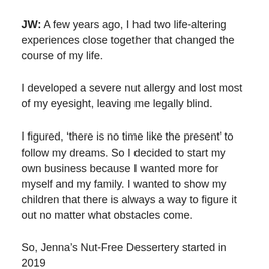JW: A few years ago, I had two life-altering experiences close together that changed the course of my life.
I developed a severe nut allergy and lost most of my eyesight, leaving me legally blind.
I figured, ‘there is no time like the present’ to follow my dreams. So I decided to start my own business because I wanted more for myself and my family. I wanted to show my children that there is always a way to figure it out no matter what obstacles come.
So, Jenna’s Nut-Free Dessertery started in 2019